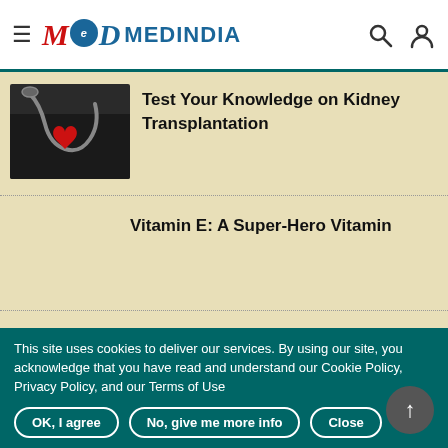MEDINDIA
[Figure (photo): Medical stethoscope with red heart on dark background]
Test Your Knowledge on Kidney Transplantation
Vitamin E: A Super-Hero Vitamin
This site uses cookies to deliver our services. By using our site, you acknowledge that you have read and understand our Cookie Policy, Privacy Policy, and our Terms of Use
OK, I agree
No, give me more info
Close